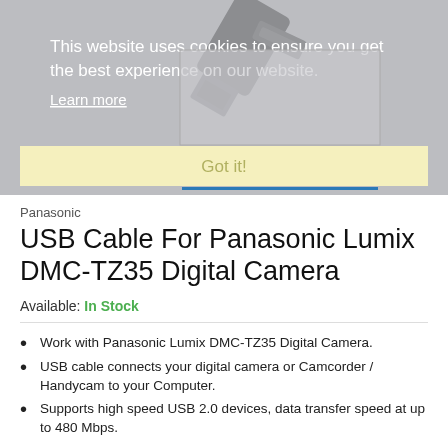[Figure (photo): USB cable connector product image, partially visible at top against gray background]
This website uses cookies to ensure you get the best experience on our website.
Learn more
Got it!
Panasonic
USB Cable For Panasonic Lumix DMC-TZ35 Digital Camera
Available: In Stock
Work with Panasonic Lumix DMC-TZ35 Digital Camera.
USB cable connects your digital camera or Camcorder / Handycam to your Computer.
Supports high speed USB 2.0 devices, data transfer speed at up to 480 Mbps.